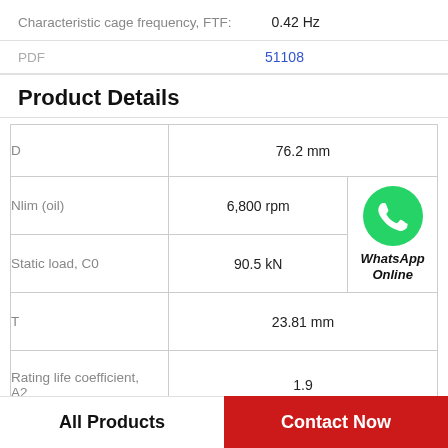Characteristic cage frequency, FTF: 0.42 Hz
PDF 51108
Product Details
|  |  |
| --- | --- |
| D | 76.2 mm |
| Nlim (oil) | 6,800 rpm |
| Static load, C0 | 90.5 kN |
| T | 23.81 mm |
| Rating life coefficient, A2 | 1.9 |
All Products
Contact Now